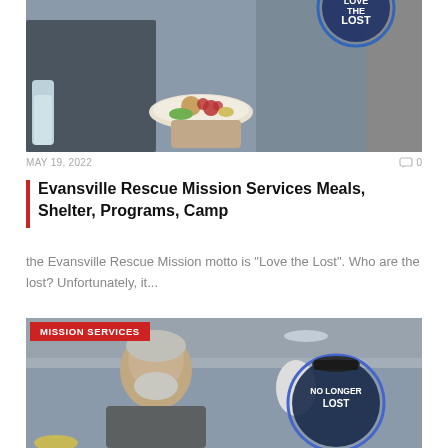[Figure (photo): Two men in a food service/cafeteria setting; one holds a plate of food with salad and bread, the other holds a water bottle; a circular badge reading 'LOST' is visible in the upper right corner]
MAY 19, 2022
0 comments
Evansville Rescue Mission Services Meals, Shelter, Programs, Camp
the Evansville Rescue Mission motto is "Love the Lost". Who are the lost? Unfortunately, it...
[Figure (photo): An older man with grey beard in a cafeteria setting; a circular badge reading 'NO LONGER LOST' is visible; a red banner reads 'MISSION SERVICES']